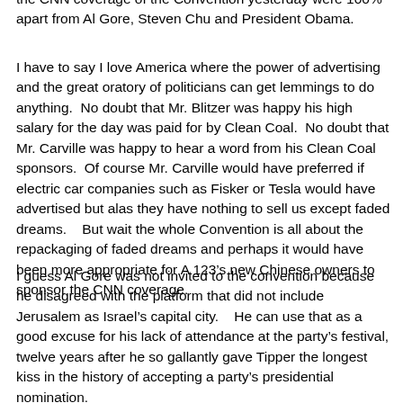the CNN coverage of the Convention yesterday were 100% apart from Al Gore, Steven Chu and President Obama.
I have to say I love America where the power of advertising and the great oratory of politicians can get lemmings to do anything.  No doubt that Mr. Blitzer was happy his high salary for the day was paid for by Clean Coal.  No doubt that Mr. Carville was happy to hear a word from his Clean Coal sponsors.  Of course Mr. Carville would have preferred if electric car companies such as Fisker or Tesla would have advertised but alas they have nothing to sell us except faded dreams.    But wait the whole Convention is all about the repackaging of faded dreams and perhaps it would have been more appropriate for A 123’s new Chinese owners to sponsor the CNN coverage.
I guess Al Gore was not invited to the convention because he disagreed with the platform that did not include Jerusalem as Israel’s capital city.    He can use that as a good excuse for his lack of attendance at the party’s festival, twelve years after he so gallantly gave Tipper the longest kiss in the history of accepting a party’s presidential nomination.